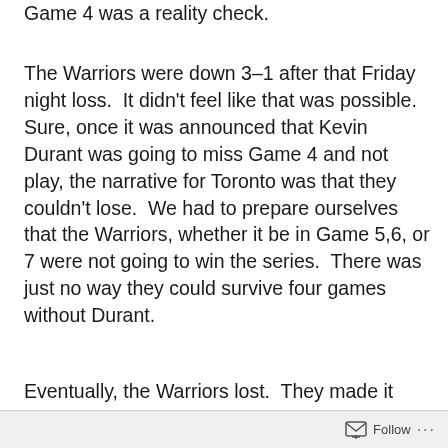Game 4 was a reality check.
The Warriors were down 3-1 after that Friday night loss.  It didn't feel like that was possible.  Sure, once it was announced that Kevin Durant was going to miss Game 4 and not play, the narrative for Toronto was that they couldn't lose.  We had to prepare ourselves that the Warriors, whether it be in Game 5,6, or 7 were not going to win the series.  There was just no way they could survive four games without Durant.
Eventually, the Warriors lost.  They made it through 4.5 games without Durant, giving it
Follow